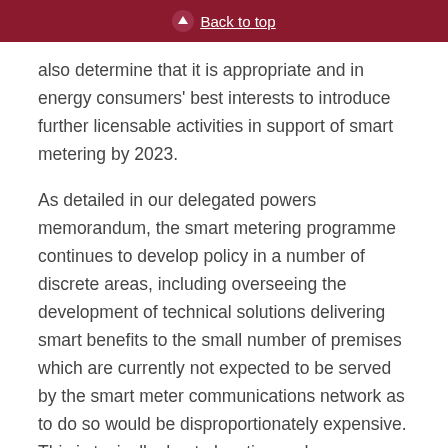Back to top
also determine that it is appropriate and in energy consumers' best interests to introduce further licensable activities in support of smart metering by 2023.
As detailed in our delegated powers memorandum, the smart metering programme continues to develop policy in a number of discrete areas, including overseeing the development of technical solutions delivering smart benefits to the small number of premises which are currently not expected to be served by the smart meter communications network as to do so would be disproportionately expensive. This is typically due to location and surroundings. For example, this can affect premises in highly built-up areas with many